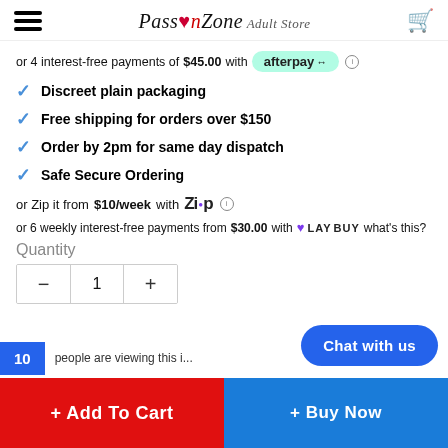PassionZone Adult Store — navigation header with logo and cart
or 4 interest-free payments of $45.00 with afterpay
Discreet plain packaging
Free shipping for orders over $150
Order by 2pm for same day dispatch
Safe Secure Ordering
or Zip it from $10/week with Zip
or 6 weekly interest-free payments from $30.00 with LAYBUY what's this?
Quantity
10 people are viewing this item
+ Add To Cart
+ Buy Now